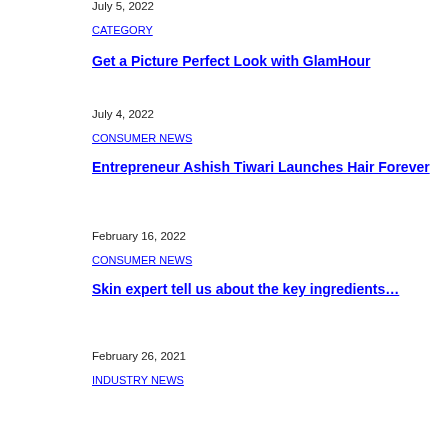July 5, 2022
CATEGORY
Get a Picture Perfect Look with GlamHour
July 4, 2022
CONSUMER NEWS
Entrepreneur Ashish Tiwari Launches Hair Forever
February 16, 2022
CONSUMER NEWS
Skin expert tell us about the key ingredients…
February 26, 2021
INDUSTRY NEWS